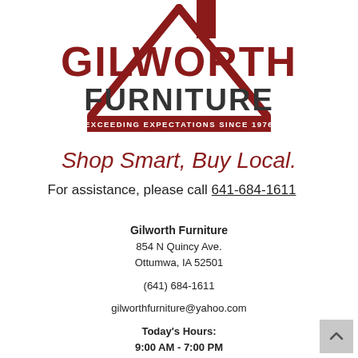[Figure (logo): Gilworth Furniture logo with house roofline, red and dark gray text, tagline 'EXCEEDING EXPECTATIONS SINCE 1976']
Shop Smart, Buy Local.
For assistance, please call 641-684-1611
Gilworth Furniture
854 N Quincy Ave.
Ottumwa, IA 52501

(641) 684-1611

gilworthfurniture@yahoo.com

Today's Hours:
9:00 AM - 7:00 PM